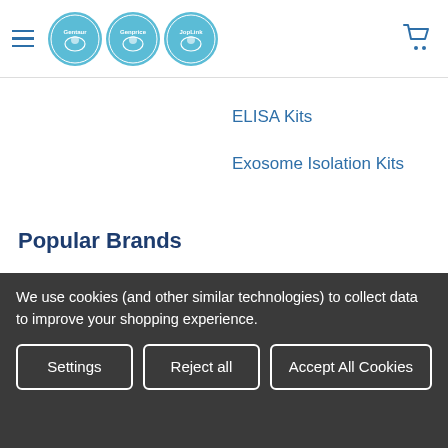Gentaur Genprice JopLink — navigation header with logos and cart
ELISA Kits
Exosome Isolation Kits
Popular Brands
Cusabio Polyclonal Antibodies
JopLink
Cusabio Customized
Cusabio pENTR223.1 Plasmid
We use cookies (and other similar technologies) to collect data to improve your shopping experience.